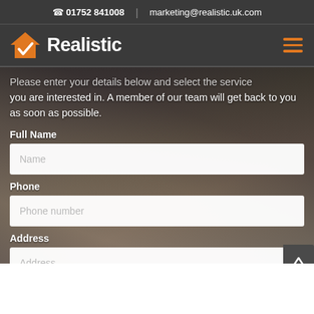📞 01752 841008  |  marketing@realistic.uk.com
[Figure (logo): Realistic company logo with orange house icon and checkmark, white bold text 'Realistic', hamburger menu icon in orange on the right]
Please enter your details below and select the service you are interested in. A member of our team will get back to you as soon as possible.
Full Name
Name (placeholder)
Phone
Phone number (placeholder)
Address
Address (placeholder)